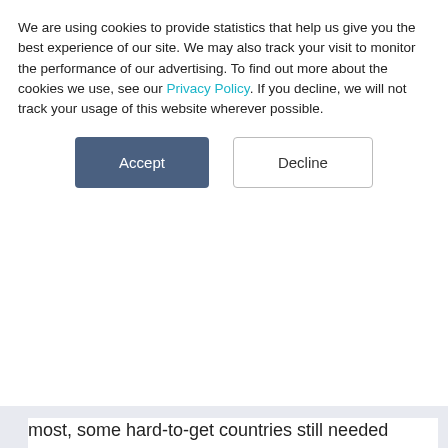We are using cookies to provide statistics that help us give you the best experience of our site. We may also track your visit to monitor the performance of our advertising. To find out more about the cookies we use, see our Privacy Policy. If you decline, we will not track your usage of this website wherever possible.
[Figure (other): Cookie consent dialog with two buttons: 'Accept' (dark blue-grey filled) and 'Decline' (white outlined)]
most, some hard-to-get countries still needed additional manual checks to make sure investors did not have to adhere to a disclosure obligation.

Now, in an industry first that sees FundApps as the only one-stop-shop Shareholding Disclosure provider that combines all Takeover Panel Data alongside a comprehensive spread of regulatory data that would put a Nigella Lawson Christmas buffet to shame; clients